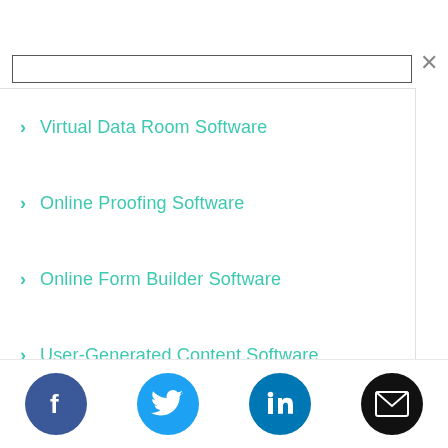[Figure (screenshot): Search bar input field with close (X) button]
Virtual Data Room Software
Online Proofing Software
Online Form Builder Software
User-Generated Content Software
Website Screenshot Software
WordPress Site Management Software
[Figure (illustration): Social media icons row: Facebook, Twitter, LinkedIn, Email]